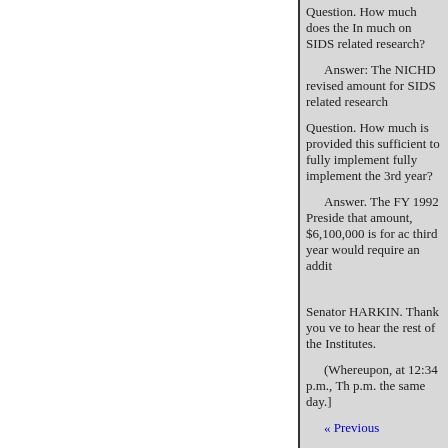Question. How much does the In much on SIDS related research?
Answer: The NICHD revised amount for SIDS related research
Question. How much is provided this sufficient to fully implement fully implement the 3rd year?
Answer. The FY 1992 Preside that amount, $6,100,000 is for ac third year would require an addit
Senator HARKIN. Thank you ve to hear the rest of the Institutes.
(Whereupon, at 12:34 p.m., Th p.m. the same day.]
« Previous